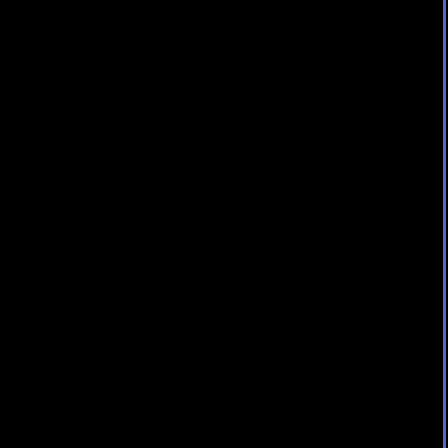* Mounts on European wall boxes with 60mm
* All CEE 7/7 European "Schuko" type plugs &
71100x45
[Figure (photo): French/Belgium style electrical outlet, white, with ground pin at top and two round pin holes, shown in modular housing]
FRANCE, BELGIUM 16A-250V OUTLET CEE 7
Notes:
* CEE 7/7 European type plugs & power cords
* Mounts on American 2X4 wall boxes, require
* Mounts on American 4X4 wall boxes, require
* Mounts on European (60mm on center) wall
* Panel mount frame # 79100X45. DIN rail mou
* Surface mount boxes, Flush mount boxes, I
* Complete range of modular devices and mo
71225
[Figure (photo): Two weatherproof/outdoor French/Belgium style electrical outlets with protective covers, gray housing]